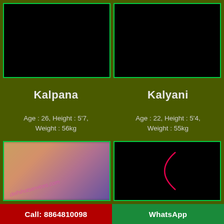[Figure (photo): Photo placeholder - black image for Kalpana]
[Figure (photo): Photo placeholder - black image for Kalyani]
Kalpana
Kalyani
Age : 26, Height : 5'7, Weight : 56kg
Age : 22, Height : 5'4, Weight : 55kg
[Figure (photo): Blurred photo of a woman with watermark text delhihotservices.com]
[Figure (illustration): Black background with red crescent/arc shape]
Call: 8864810098
WhatsApp